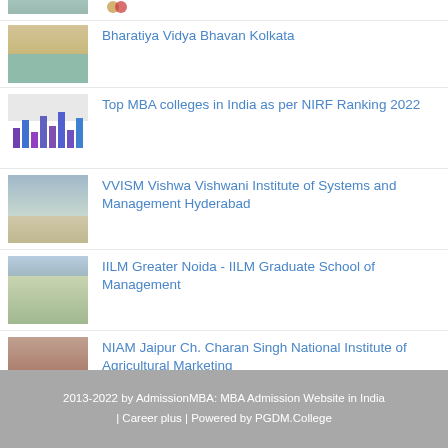Bharatiya Vidya Bhavan Kolkata
Top MBA colleges in India as per NIRF Ranking 2022
VVISM Vishwa Vishwani Institute of Systems and Management Hyderabad
IILM Greater Noida - IILM Graduate School of Management
NIAM Jaipur Ch. Charan Singh National Institute of Agricultural Marketing
2013-2022 by AdmissionMBA: MBA Admission Website in India | Career plus | Powered by PGDM.College